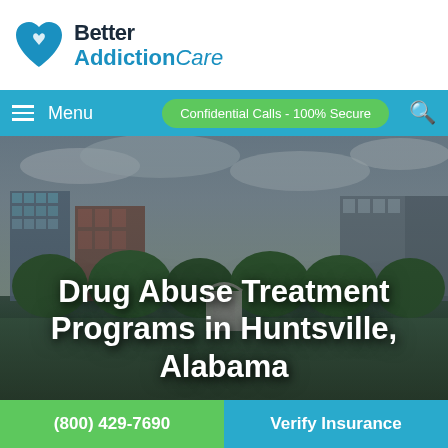[Figure (logo): Better AddictionCare logo with heart icon]
≡ Menu   Confidential Calls - 100% Secure 🔍
[Figure (photo): Aerial/street view of Huntsville, Alabama city with buildings and trees under cloudy sky]
Drug Abuse Treatment Programs in Huntsville, Alabama
(800) 429-7690
Verify Insurance